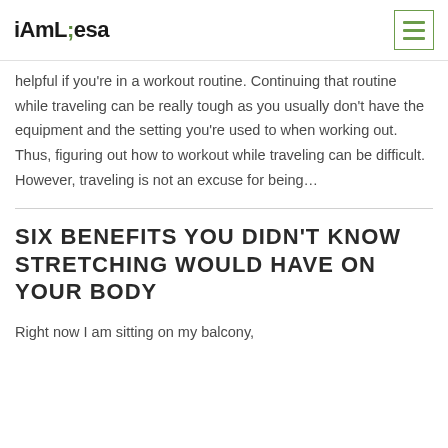iAmLiesa
helpful if you're in a workout routine. Continuing that routine while traveling can be really tough as you usually don't have the equipment and the setting you're used to when working out. Thus, figuring out how to workout while traveling can be difficult. However, traveling is not an excuse for being…
SIX BENEFITS YOU DIDN'T KNOW STRETCHING WOULD HAVE ON YOUR BODY
Right now I am sitting on my balcony,